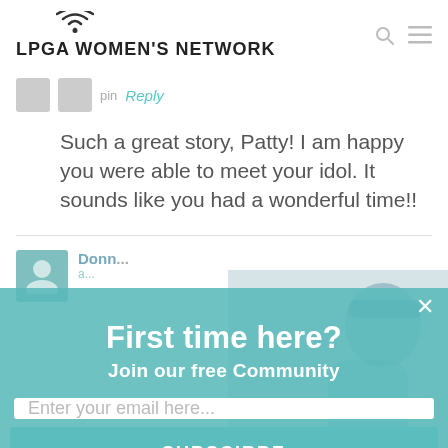LPGA WOMEN'S NETWORK
pin   Reply
Such a great story, Patty! I am happy you were able to meet your idol. It sounds like you had a wonderful time!!
Donn
a...
First time here?
Join our free Community
Enter your email here...
SUBSCIRBE